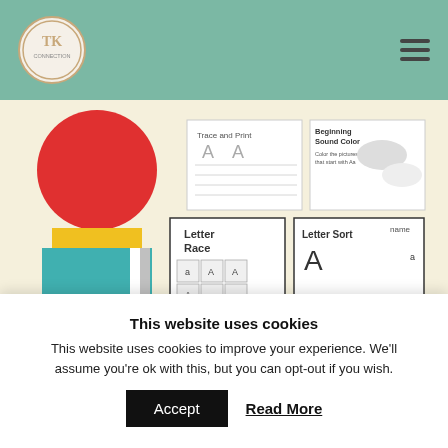The Kindergarten Connection — site header with logo and navigation menu
[Figure (illustration): Product image for 'The Alphabet Experts Mega Bundle from Kindergarten Connections' showing colorful alphabet worksheets and activities. Features a black banner at the bottom reading 'Over 500 pages of alphabet fun!' and a black circle with text 'By The Kindergarten Connection'.]
The Alphabet Experts Mega Bundle from Kindergarten Connections contains 500+ of alphabet printables, including tons of activities
This website uses cookies
This website uses cookies to improve your experience. We'll assume you're ok with this, but you can opt-out if you wish.
Accept
Read More